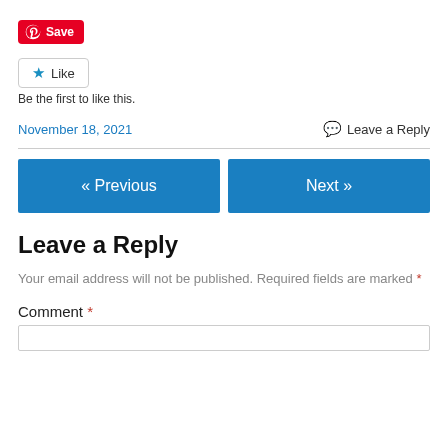[Figure (other): Pinterest Save button with red background and white text]
[Figure (other): Like button with star icon and border]
Be the first to like this.
November 18, 2021
Leave a Reply
« Previous
Next »
Leave a Reply
Your email address will not be published. Required fields are marked *
Comment *